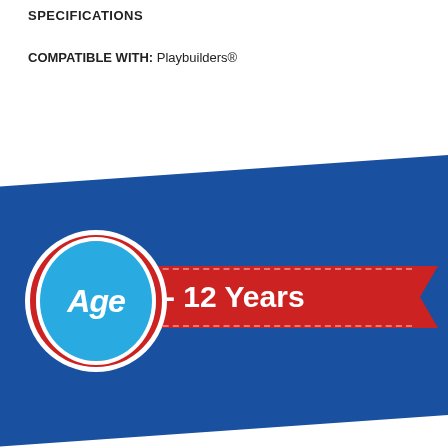SPECIFICATIONS
COMPATIBLE WITH: Playbuilders®
[Figure (infographic): Age badge infographic: a blue circle with white border and red ring showing 'Age' in italic white text, next to a red ribbon banner reading '2 - 12 Years', all on a blue angled background.]